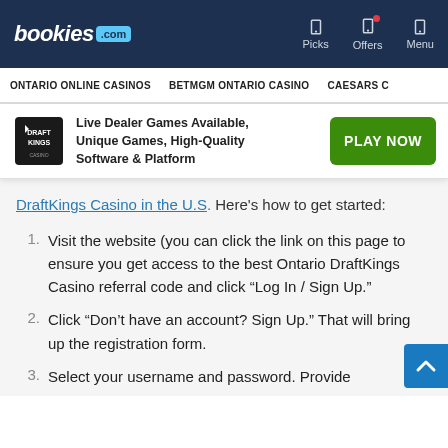bookies.com | Picks | Offers | Menu
ONTARIO ONLINE CASINOS | BETMGM ONTARIO CASINO | CAESARS C
[Figure (screenshot): DraftKings Casino logo and promotional banner with PLAY NOW button]
DraftKings Casino in the U.S. Here's how to get started:
Visit the website (you can click the link on this page to ensure you get access to the best Ontario DraftKings Casino referral code and click “Log In / Sign Up.”
Click “Don’t have an account? Sign Up.” That will bring up the registration form.
Select your username and password. Provide